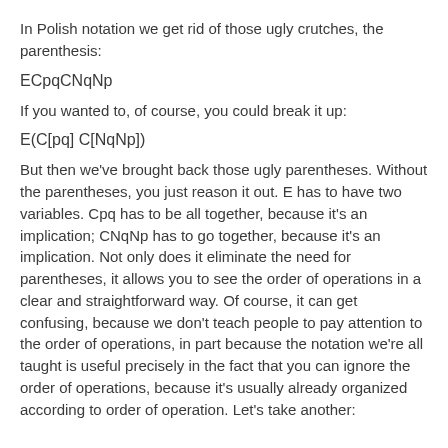In Polish notation we get rid of those ugly crutches, the parenthesis:
If you wanted to, of course, you could break it up:
But then we've brought back those ugly parentheses. Without the parentheses, you just reason it out. E has to have two variables. Cpq has to be all together, because it's an implication; CNqNp has to go together, because it's an implication. Not only does it eliminate the need for parentheses, it allows you to see the order of operations in a clear and straightforward way. Of course, it can get confusing, because we don't teach people to pay attention to the order of operations, in part because the notation we're all taught is useful precisely in the fact that you can ignore the order of operations, because it's usually already organized according to order of operation. Let's take another: